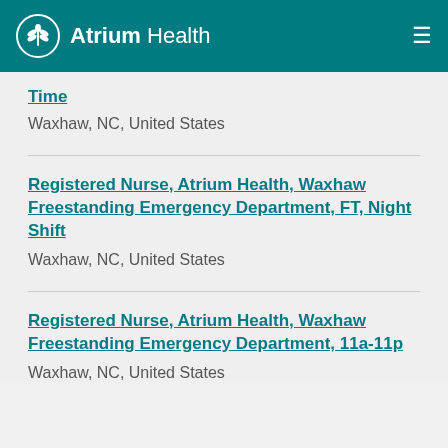Atrium Health
Time
Waxhaw, NC, United States
Registered Nurse, Atrium Health, Waxhaw Freestanding Emergency Department, FT, Night Shift
Waxhaw, NC, United States
Registered Nurse, Atrium Health, Waxhaw Freestanding Emergency Department, 11a-11p
Waxhaw, NC, United States